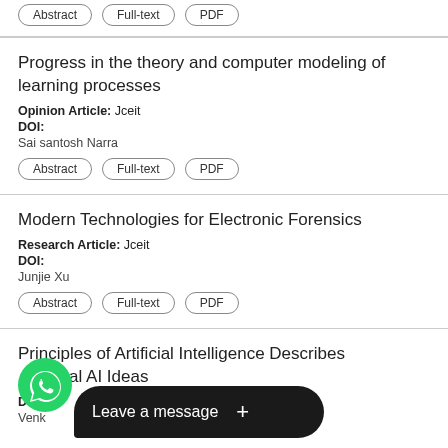Abstract | Full-text | PDF (partial, top of page)
Progress in the theory and computer modeling of learning processes
Opinion Article: Jceit
DOI:
Sai santosh Narra
Abstract | Full-text | PDF
Modern Technologies for Electronic Forensics
Research Article: Jceit
DOI:
Junjie Xu
Abstract | Full-text | PDF
Principles of Artificial Intelligence Describes Fundamental AI Ideas
DOI:
Venk...